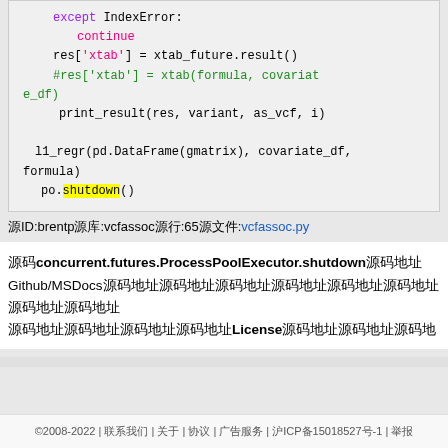[Figure (screenshot): Python code snippet showing except IndexError, continue, res['xtab'] assignment, commented line, print_result call, l1_regr call, and po.shutdown() with shutdown highlighted in yellow]
源ID:brentp源库:vcfassoc源行:65源文件:vcfassoc.py
源码concurrent.futures.ProcessPoolExecutor.shutdown源码地址Github/MSDocsGithub/MSDocs源码地址GitHub源码地址License源码地址许可
©2008-2022 | 联系我们 | 关于 | 协议 | 广告服务 | 沪ICP备15018527号-1 | 举报